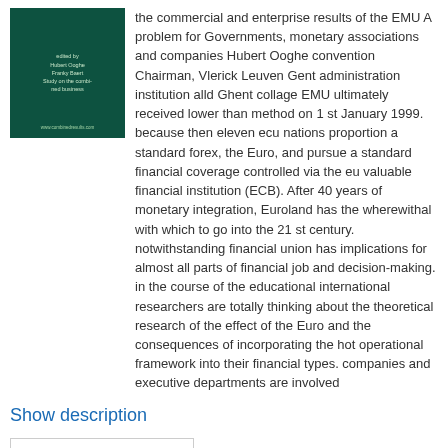[Figure (illustration): Dark green book cover with small text listing authors and title related to EMU]
the commercial and enterprise results of the EMU A problem for Governments, monetary associations and companies Hubert Ooghe convention Chairman, Vlerick Leuven Gent administration institution alld Ghent collage EMU ultimately received lower than method on 1 st January 1999. because then eleven ecu nations proportion a standard forex, the Euro, and pursue a standard financial coverage controlled via the eu valuable financial institution (ECB). After 40 years of monetary integration, Euroland has the wherewithal with which to go into the 21 st century. notwithstanding financial union has implications for almost all parts of financial job and decision-making. in the course of the educational international researchers are totally thinking about the theoretical research of the effect of the Euro and the consequences of incorporating the hot operational framework into their financial types. companies and executive departments are involved
Show description
Continue reading →
Posted in Power Resources